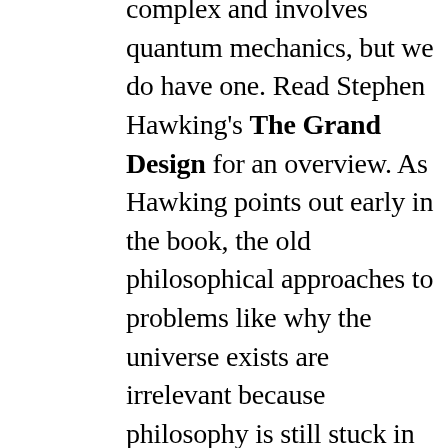complex and involves quantum mechanics, but we do have one. Read Stephen Hawking's The Grand Design for an overview. As Hawking points out early in the book, the old philosophical approaches to problems like why the universe exists are irrelevant because philosophy is still stuck in an outdated approach to reality which ignores modern physics. The old arguments about God and existence are just meaningless word games not connected with